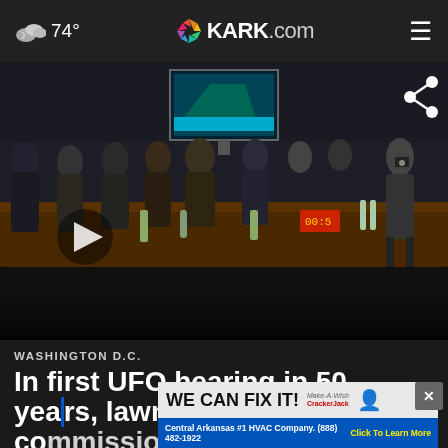74° KARK.com
[Figure (screenshot): Video thumbnail of a congressional UFO hearing room with people seated at tables, a screen visible at the top, a photographer on the right, and a play button overlay on the left side.]
WASHINGTON D.C.
In first UFO hearing in 50 years, lawmakers commission disclosures
[Figure (other): Advertisement overlay: 'WE CAN FIX IT!' from Central Arkansas #1 HVAC Company. (888) 482-1922. Click To Learn More. Make-A-Wish and CrackerJack logos visible.]